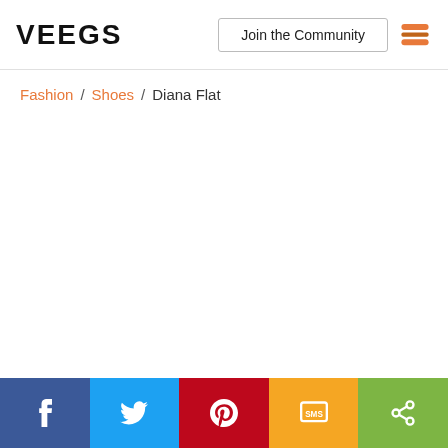VEEGS | Join the Community
Fashion / Shoes / Diana Flat
Facebook | Twitter | Pinterest | SMS | Share